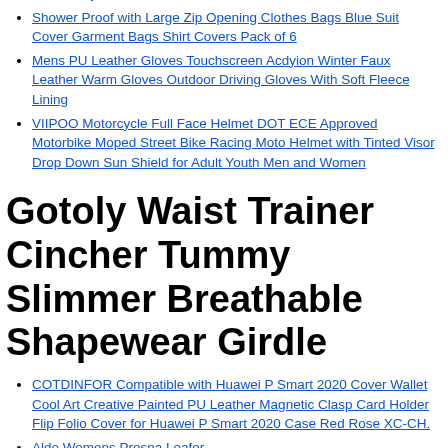Control Built in stereo Speaker Bluetooth Vinyl Record Player Turntable Cassette Remote Control DIGITNOW CD Stand Alone Music Player
Shower Proof with Large Zip Opening Clothes Bags Blue Suit Cover Garment Bags Shirt Covers Pack of 6
Mens PU Leather Gloves Touchscreen Acdyion Winter Faux Leather Warm Gloves Outdoor Driving Gloves With Soft Fleece Lining
VIIPOO Motorcycle Full Face Helmet DOT ECE Approved Motorbike Moped Street Bike Racing Moto Helmet with Tinted Visor Drop Down Sun Shield for Adult Youth Men and Women
Gotoly Waist Trainer Cincher Tummy Slimmer Breathable Shapewear Girdle
COTDINFOR Compatible with Huawei P Smart 2020 Cover Wallet Cool Art Creative Painted PU Leather Magnetic Clasp Card Holder Flip Folio Cover for Huawei P Smart 2020 Case Red Rose XC-CH.
Aldo Womens Presna Loafer